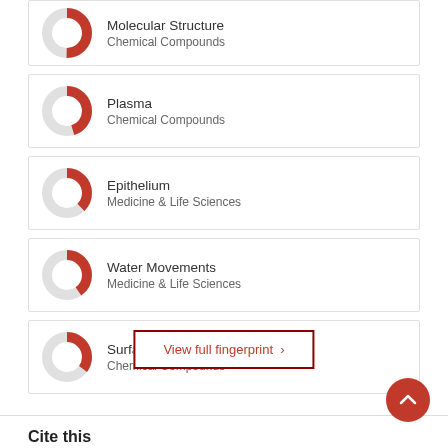[Figure (infographic): Donut chart icon for 'Molecular Structure / Chemical Compounds' fingerprint item (partial, cropped at top)]
[Figure (infographic): Donut chart icon for 'Plasma / Chemical Compounds' fingerprint item]
[Figure (infographic): Donut chart icon for 'Epithelium / Medicine & Life Sciences' fingerprint item]
[Figure (infographic): Donut chart icon for 'Water Movements / Medicine & Life Sciences' fingerprint item]
[Figure (infographic): Donut chart icon for 'Surface / Chemical Compounds' fingerprint item]
Molecular Structure
Chemical Compounds
Plasma
Chemical Compounds
Epithelium
Medicine & Life Sciences
Water Movements
Medicine & Life Sciences
Surface
Chemical Compounds
View full fingerprint ›
Cite this